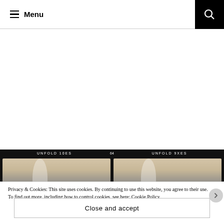Menu
[Figure (photo): Two side-by-side photos showing toilet paper rolls, labeled UNFOLD 10ES and UNFOLD 9XS with number 64 in center, on dark background]
Privacy & Cookies: This site uses cookies. By continuing to use this website, you agree to their use.
To find out more, including how to control cookies, see here: Cookie Policy
Close and accept